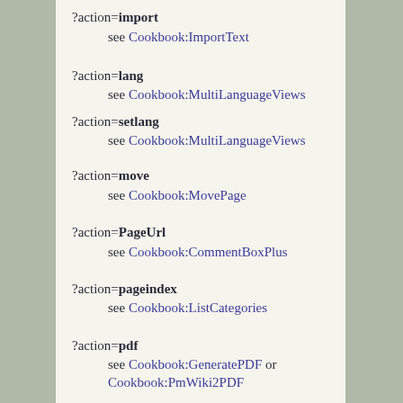?action=import
    see Cookbook:ImportText
?action=lang
    see Cookbook:MultiLanguageViews
?action=setlang
    see Cookbook:MultiLanguageViews
?action=move
    see Cookbook:MovePage
?action=PageUrl
    see Cookbook:CommentBoxPlus
?action=pageindex
    see Cookbook:ListCategories
?action=pdf
    see Cookbook:GeneratePDF or Cookbook:PmWiki2PDF